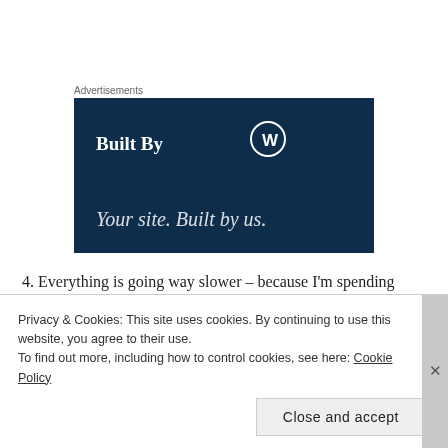Advertisements
[Figure (other): WordPress 'Built By' advertisement banner with dark navy background, showing 'Built By' with WordPress logo and tagline 'Your site. Built by us.']
4. Everything is going way slower – because I'm spending more time in class assessing. I do it about once a week, for 35 or 40 minutes. But right now I am about a week behind where I was last year. I am teaching limits now and I'm getting bored with some of the dry stuff I'm emphasizing (e.g. limit laws, etc.). So are the kids. I am going to
Privacy & Cookies: This site uses cookies. By continuing to use this website, you agree to their use.
To find out more, including how to control cookies, see here: Cookie Policy
Close and accept